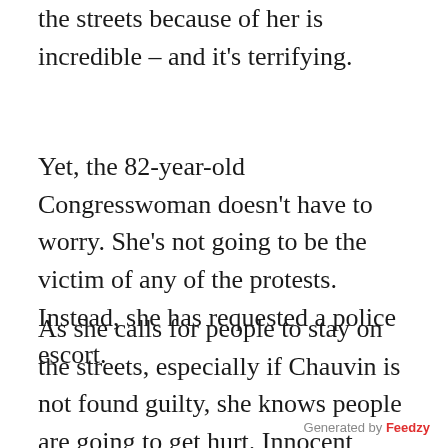the level of violence that's erupting onto the streets because of her is incredible – and it's terrifying.
Yet, the 82-year-old Congresswoman doesn't have to worry. She's not going to be the victim of any of the protests. Instead, she has requested a police escort.
As she calls for people to stay on the streets, especially if Chauvin is not found guilty, she knows people are going to get hurt. Innocent people walking to their homes and driving to their jobs are going to get hurt. Why? Because the protesters are
Generated by Feedzy